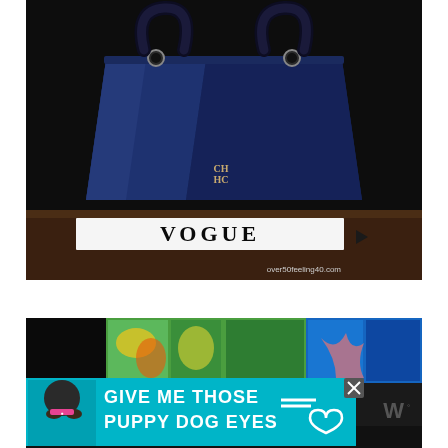[Figure (photo): A navy blue structured leather handbag with double top handles, displaying a small CH Carolina Herrera logo on the front. The bag is placed on a wooden surface next to/in front of a white Vogue magazine book spine. Text 'over50feeling40.com' visible in bottom right corner.]
[Figure (photo): Partial view of colorful artwork/paintings in the background. An advertisement overlay reads 'GIVE ME THOSE PUPPY DOG EYES' with a cartoon dog image on a teal/cyan background with a close (X) button. A partial 'W' logo watermark visible on right.]